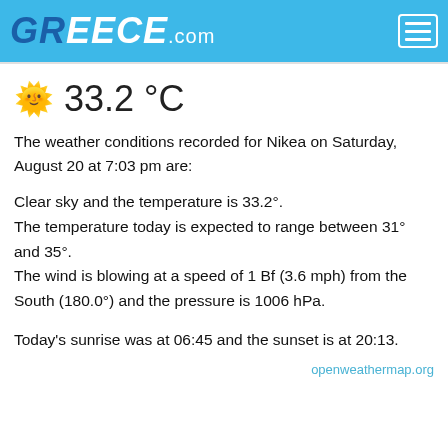GREECE.com
33.2 °C
The weather conditions recorded for Nikea on Saturday, August 20 at 7:03 pm are:
Clear sky and the temperature is 33.2°.
The temperature today is expected to range between 31° and 35°.
The wind is blowing at a speed of 1 Bf (3.6 mph) from the South (180.0°) and the pressure is 1006 hPa.
Today's sunrise was at 06:45 and the sunset is at 20:13.
openweathermap.org